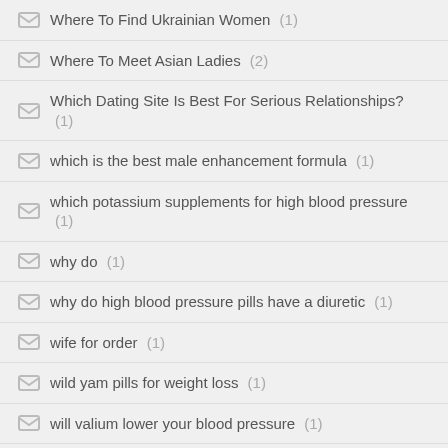Where To Find Ukrainian Women (1)
Where To Meet Asian Ladies (2)
Which Dating Site Is Best For Serious Relationships? (1)
which is the best male enhancement formula (1)
which potassium supplements for high blood pressure (1)
why do (1)
why do high blood pressure pills have a diuretic (1)
wife for order (1)
wild yam pills for weight loss (1)
will valium lower your blood pressure (1)